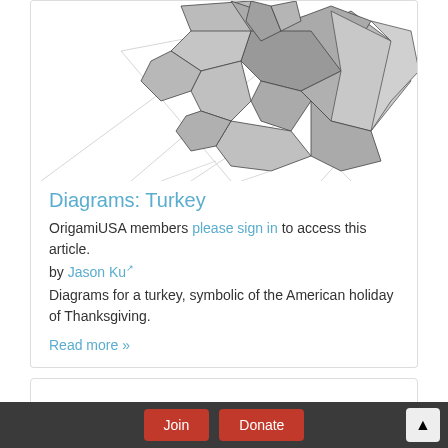[Figure (illustration): Origami turkey diagram — geometric polygonal folded paper turkey shape in gray tones with white background, partially cropped at top]
Diagrams: Turkey
OrigamiUSA members please sign in to access this article.
by Jason Ku
Diagrams for a turkey, symbolic of the American holiday of Thanksgiving.
Read more »
Join   Donate